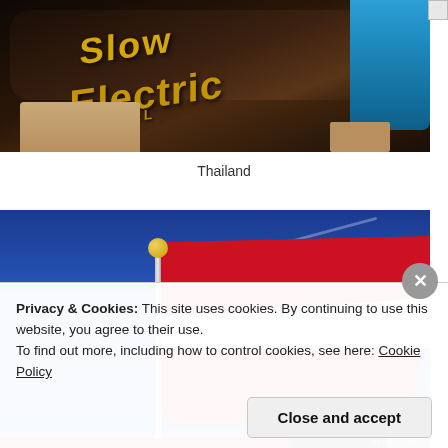[Figure (photo): Close-up photo of a person wearing a dark brown cap with yellow 'Slow Electric' text/logo, seated on a blue plastic chair, with skin/clothing visible at bottom.]
Thailand
[Figure (photo): Photo of a red and white flag (Swiss or similar) on a pole against a blue sky, with cloud streaks visible.]
Privacy & Cookies: This site uses cookies. By continuing to use this website, you agree to their use.
To find out more, including how to control cookies, see here: Cookie Policy
Close and accept